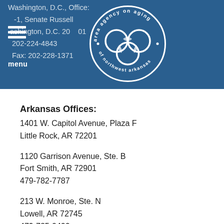Washington, D.C., Office:
1-1, Senate Russell
Washington, D.C. 20001
202-224-4843
Fax: 202-228-1371
[Figure (logo): Area Agency on Aging of Northwest Arkansas circular seal/logo in white on blue background]
Arkansas Offices:
1401 W. Capitol Avenue, Plaza F
Little Rock, AR 72201
1120 Garrison Avenue, Ste. B
Fort Smith, AR 72901
479-782-7787
213 W. Monroe, Ste. N
Lowell, AR 72745
479-725-0400
The Hon. Tom Cotton
U.S. Senator